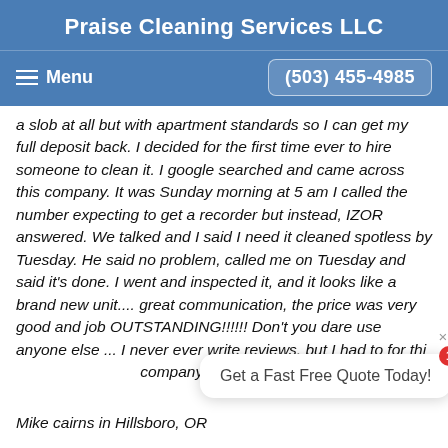Praise Cleaning Services LLC
Menu  (503) 455-4985
a slob at all but with apartment standards so I can get my full deposit back. I decided for the first time ever to hire someone to clean it. I google searched and came across this company. It was Sunday morning at 5 am I called the number expecting to get a recorder but instead, IZOR answered. We talked and I said I need it cleaned spotless by Tuesday. He said no problem, called me on Tuesday and said it's done. I went and inspected it, and it looks like a brand new unit.... great communication, the price was very good and job OUTSTANDING!!!!!! Don't you dare use anyone else ... I never ever write reviews. but I had to for thi company.
Get a Fast Free Quote Today!
Mike cairns in Hillsboro, OR